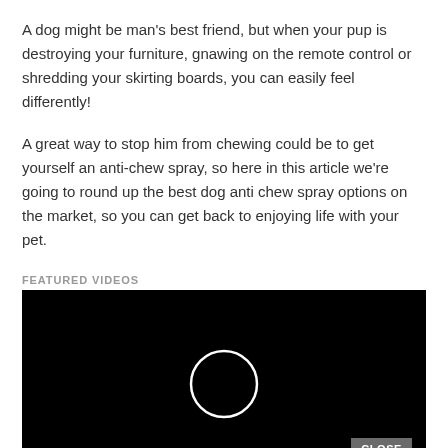A dog might be man's best friend, but when your pup is destroying your furniture, gnawing on the remote control or shredding your skirting boards, you can easily feel differently!
A great way to stop him from chewing could be to get yourself an anti-chew spray, so here in this article we're going to round up the best dog anti chew spray options on the market, so you can get back to enjoying life with your pet.
FEATURED VIDEOS
[Figure (other): Black video player with a white circle play button in the center and a CLOSE button in the bottom right corner]